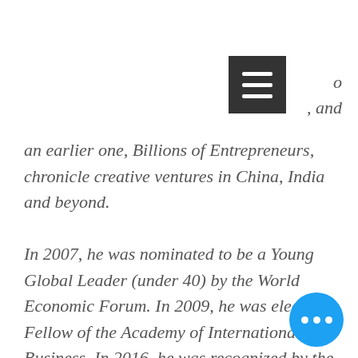[Figure (other): Dark grey hamburger menu icon button (three horizontal white bars on dark background) overlaid with partial italic text 'o' and ', and' visible to its right]
an earlier one, Billions of Entrepreneurs, chronicle creative ventures in China, India and beyond.
In 2007, he was nominated to be a Young Global Leader (under 40) by the World Economic Forum. In 2009, he was elected a Fellow of the Academy of International Business. In 2016, he was recognized by the Academy of Management as Eminent Scholar
[Figure (other): Blue circle button with three white ellipsis dots in the bottom-right corner of the page]